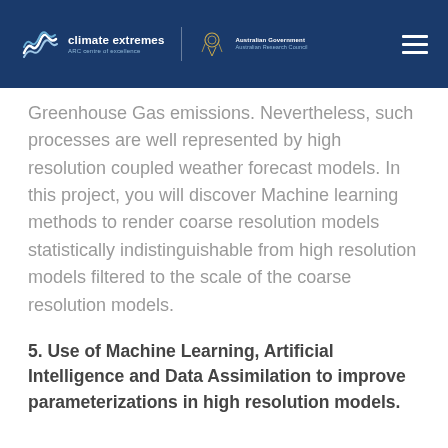climate extremes ARC centre of excellence | Australian Government Australian Research Council
Greenhouse Gas emissions. Nevertheless, such processes are well represented by high resolution coupled weather forecast models. In this project, you will discover Machine learning methods to render coarse resolution models statistically indistinguishable from high resolution models filtered to the scale of the coarse resolution models.
5. Use of Machine Learning, Artificial Intelligence and Data Assimilation to improve parameterizations in high resolution models.